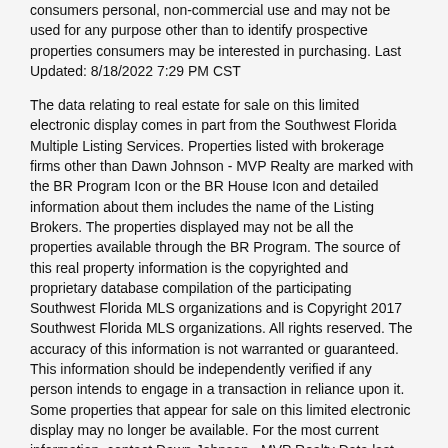consumers personal, non-commercial use and may not be used for any purpose other than to identify prospective properties consumers may be interested in purchasing. Last Updated: 8/18/2022 7:29 PM CST The data relating to real estate for sale on this limited electronic display comes in part from the Southwest Florida Multiple Listing Services. Properties listed with brokerage firms other than Dawn Johnson - MVP Realty are marked with the BR Program Icon or the BR House Icon and detailed information about them includes the name of the Listing Brokers. The properties displayed may not be all the properties available through the BR Program. The source of this real property information is the copyrighted and proprietary database compilation of the participating Southwest Florida MLS organizations and is Copyright 2017 Southwest Florida MLS organizations. All rights reserved. The accuracy of this information is not warranted or guaranteed. This information should be independently verified if any person intends to engage in a transaction in reliance upon it. Some properties that appear for sale on this limited electronic display may no longer be available. For the most current information, contact Dawn Johnson - MVP Realty Data last updated 8/18/2022 7:29 PM CST.
The source of this real property information is the copyrighted and proprietary database compilation of the Southwest Florida MLS organizations Copyright 2022. Southwest Florida MLS organizations. All rights reserved. The accuracy of this information is not warranted or guaranteed. This information